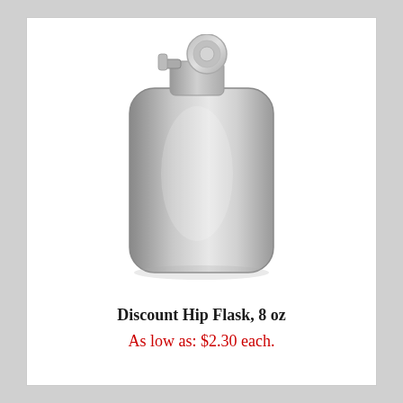[Figure (photo): Stainless steel 8 oz hip flask with a screw-on cap, silver metallic finish, standing upright]
Discount Hip Flask, 8 oz
As low as: $2.30 each.